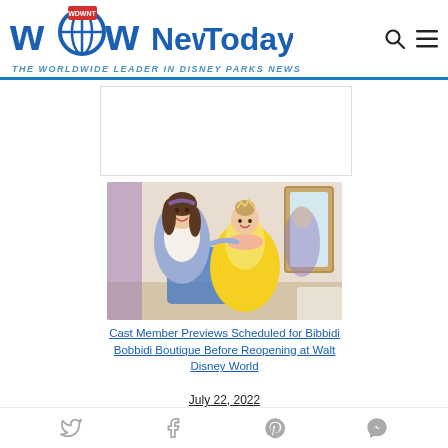WDW News Today - THE WORLDWIDE LEADER IN DISNEY PARKS NEWS
[Figure (photo): A Disney cast member dressed in a blue and white fairy godmother apprentice costume posing with a young girl dressed in a yellow princess (Belle) costume at Bibbidi Bobbidi Boutique]
Cast Member Previews Scheduled for Bibbidi Bobbidi Boutique Before Reopening at Walt Disney World
July 22, 2022
Social media share icons: Twitter, Facebook, Pinterest, Messenger